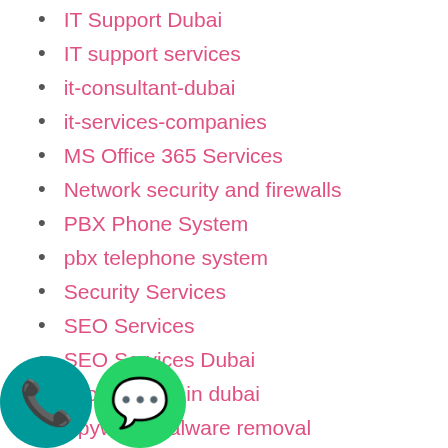IT Support Dubai
IT support services
it-consultant-dubai
it-services-companies
MS Office 365 Services
Network security and firewalls
PBX Phone System
pbx telephone system
Security Services
SEO Services
SEO Services Dubai
seo services in dubai
Spyware malware removal
Structured cable installation
Structured Cabling
[Figure (illustration): Two circular phone icons at the bottom left: a teal/dark-cyan phone icon and a green WhatsApp icon]